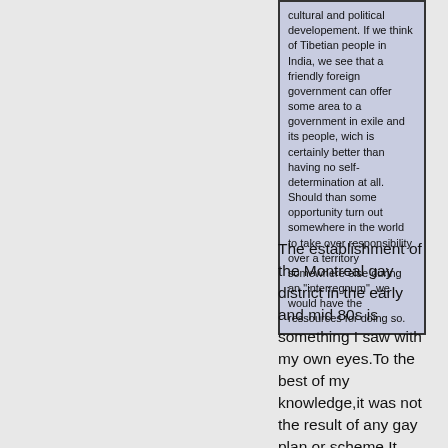cultural and political developement. If we think of Tibetian people in India, we see that a friendly foreign government can offer some area to a government in exile and its people, wich is certainly better than having no self-determination at all. Should than some opportunity turn out somewhere in the world to take over responsibility over a territory somewhere else during an "interregnum", we would have the ressources for doing so.
The establishment of the Montreal gay district in the early and mid 80s is something I saw with my own eyes.To the best of my knowledge,it was not the result of any gay plan or scheme.It would rather have had to do with the hethro municipal authorities,which were rumoured to have caused difficulties to the former Montreal gay settlement composed